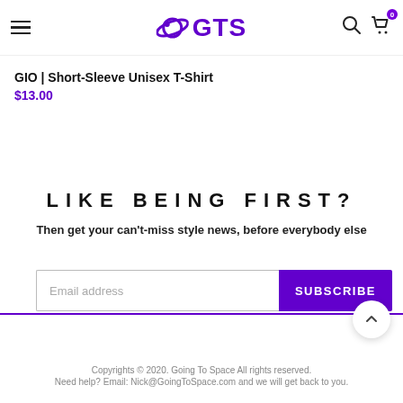GTS logo with hamburger menu, search and cart icons
GIO | Short-Sleeve Unisex T-Shirt
$13.00
LIKE BEING FIRST?
Then get your can't-miss style news, before everybody else
Email address [input] SUBSCRIBE [button]
Copyrights © 2020. Going To Space All rights reserved.
Need help? Email: Nick@GoingToSpace.com and we will get back to you.